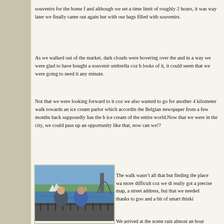souvenirs for the home and although we set a time limit of roughly 2 hours, it was way later when we finally came out again but with our bags filled with souvenirs.
As we walked out of the market, dark clouds were hovering over the and in a way we were glad to have bought a souvenir umbrella coz by the looks of it, it could seem that we were going to need it any minute.
Not that we were looking forward to it coz we also wanted to go for another 4 kilometer walk towards an ice cream parlor which according the Belgian newspaper from a few months back supposedly has the best ice cream of the entire world.Now that we were in the city, we couldn't pass up an opportunity like that, now can we!?
[Figure (photo): Two young women posing on a high vantage point overlooking Sydney Harbour with the Sydney Opera House and water visible in the background.]
The walk wasn't all that but finding the place was more difficult coz we didn't really got a precise map, a street address, but that's all we needed thanks to good old logic and a bit of smart thinking.
We arrived at the scene in rain almost an hour later, or no rain, we were going to have our ice cream and it seemed that w